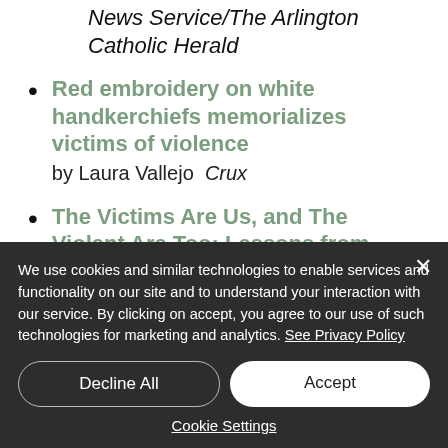News Service/The Arlington Catholic Herald
Red embroidery on white handkerchiefs memorializes victims of violence by Laura Vallejo  Crux
The Victims Are Us, and The Violent Are Too: Lessons from New Zealand
We use cookies and similar technologies to enable services and functionality on our site and to understand your interaction with our service. By clicking on accept, you agree to our use of such technologies for marketing and analytics. See Privacy Policy
Decline All
Accept
Cookie Settings